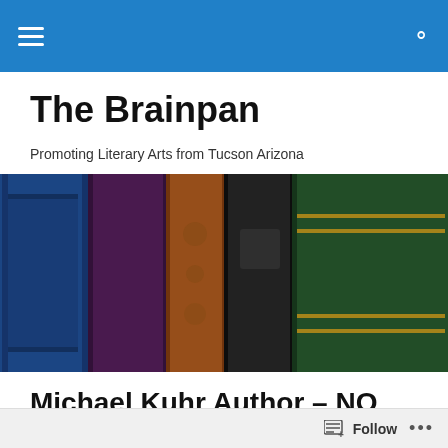The Brainpan – navigation bar with hamburger menu and search icon
The Brainpan
Promoting Literary Arts from Tucson Arizona
[Figure (photo): Row of vintage hardcover books standing upright, spines visible in blue, purple, brown, black, and green colors]
Michael Kuhr Author – NO ONE HAS TO WORRY
Follow  •••